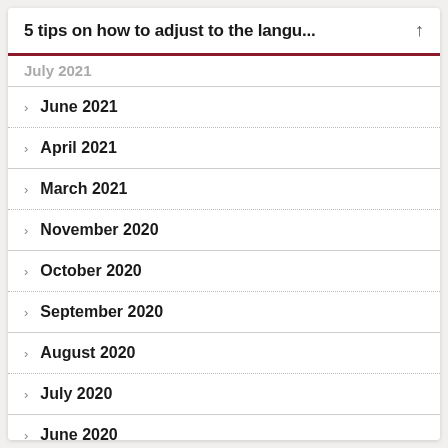5 tips on how to adjust to the langu...
June 2021
April 2021
March 2021
November 2020
October 2020
September 2020
August 2020
July 2020
June 2020
May 2020